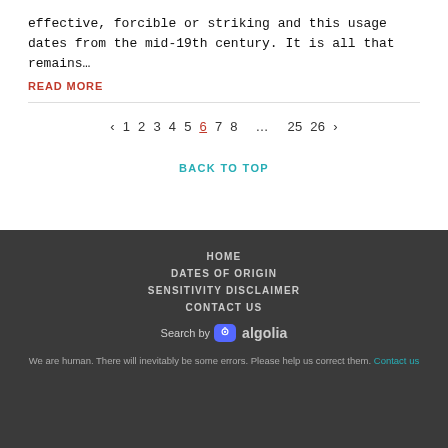effective, forcible or striking and this usage dates from the mid-19th century. It is all that remains…
READ MORE
‹ 1 2 3 4 5 6 7 8 … 25 26 ›
BACK TO TOP
HOME
DATES OF ORIGIN
SENSITIVITY DISCLAIMER
CONTACT US
Search by algolia
We are human. There will inevitably be some errors. Please help us correct them. Contact us